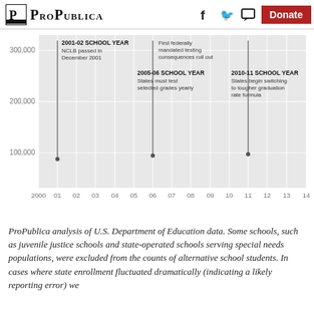ProPublica
[Figure (continuous-plot): Timeline chart with gray background showing school years 2000-2014 on x-axis and values 0-300,000 on y-axis. Three annotated vertical markers: 2001-02 School Year (NCLB passed in December 2001), 2005-06 School Year (States must test selected grades yearly) with first federally mandated testing consequences roll out label, and 2010-11 School Year (States begin switching to tougher graduation rate formula). Chart background is light gray with white vertical gridlines.]
ProPublica analysis of U.S. Department of Education data. Some schools, such as juvenile justice schools and state-operated schools serving special needs populations, were excluded from the counts of alternative school students. In cases where state enrollment fluctuated dramatically (indicating a likely reporting error) we